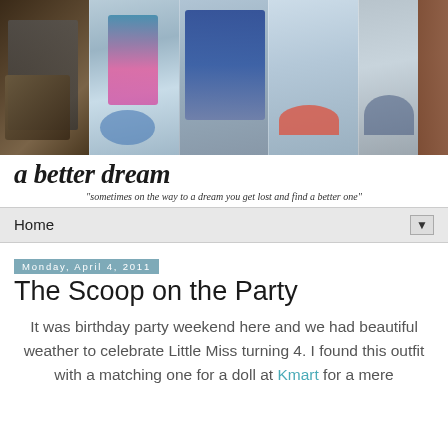[Figure (photo): Blog header banner with five collage photos of children playing in snow, sledding and tubing outdoors in winter.]
a better dream
"sometimes on the way to a dream you get lost and find a better one"
Home
Monday, April 4, 2011
The Scoop on the Party
It was birthday party weekend here and we had beautiful weather to celebrate Little Miss turning 4. I found this outfit with a matching one for a doll at Kmart for a mere